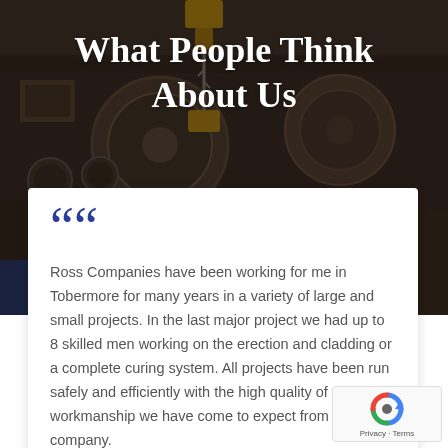[Figure (photo): Industrial background photo showing overhead crane/hoist equipment with pulleys, chains and machinery in a dark workshop environment]
What People Think About Us
Ross Companies have been working for me in Tobermore for many years in a variety of large and small projects. In the last major project we had up to 8 skilled men working on the erection and cladding or a complete curing system. All projects have been run safely and efficiently with the high quality of workmanship we have come to expect from the company.
[Figure (logo): Google reCAPTCHA badge with Privacy and Terms links]